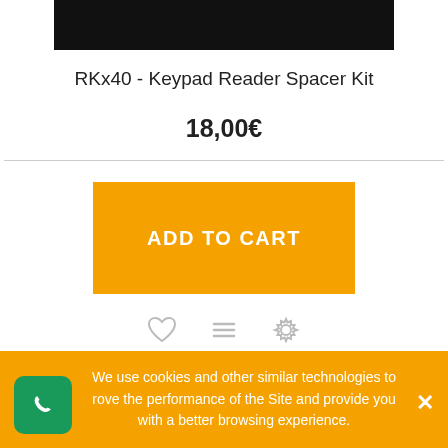[Figure (screenshot): Black rectangular image area at top of product card]
RKx40 - Keypad Reader Spacer Kit
18,00€
ADD TO CART
[Figure (illustration): Row of three icons: heart (wishlist), list, gear (settings)]
We use cookies and other similar technologies to rove the performance of the Site and provide you with a better browsing experience.